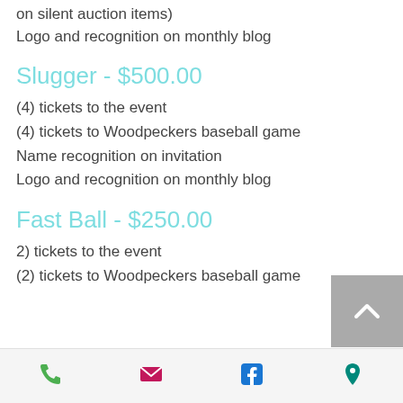on silent auction items)
Logo and recognition on monthly blog
Slugger - $500.00
(4) tickets to the event
(4) tickets to Woodpeckers baseball game
Name recognition on invitation
Logo and recognition on monthly blog
Fast Ball - $250.00
2) tickets to the event
(2) tickets to Woodpeckers baseball game
Phone | Email | Facebook | Location